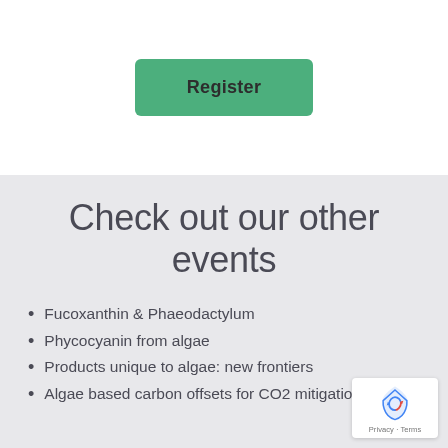[Figure (other): Green 'Register' button centered in white section]
Check out our other events
Fucoxanthin & Phaeodactylum
Phycocyanin from algae
Products unique to algae: new frontiers
Algae based carbon offsets for CO2 mitigation